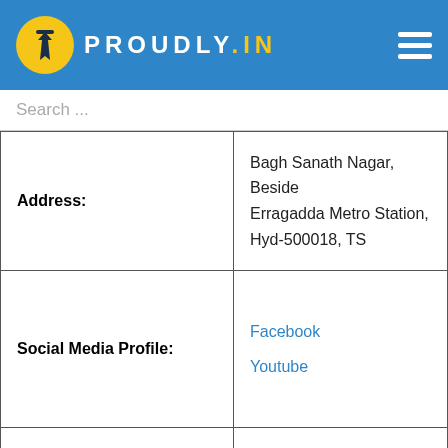PROUDLY.IN
Search ...
| Address: | Bagh Sanath Nagar, Beside Erragadda Metro Station, Hyd-500018, TS |
| Social Media Profile: | Facebook
Youtube |
| Get the Direction: | Seasons Indoor Swimming Pool (Erragada) |